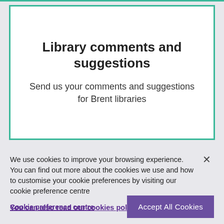Library comments and suggestions
Send us your comments and suggestions for Brent libraries
We use cookies to improve your browsing experience. You can find out more about the cookies we use and how to customise your cookie preferences by visiting our cookie preference centre
You can also read our cookies policy
Cookie preference centre
Accept All Cookies